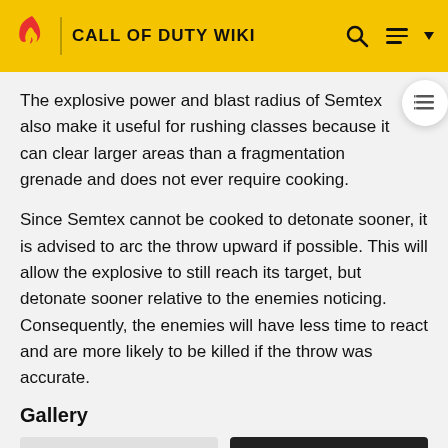CALL OF DUTY WIKI
The explosive power and blast radius of Semtex also make it useful for rushing classes because it can clear larger areas than a fragmentation grenade and does not ever require cooking.
Since Semtex cannot be cooked to detonate sooner, it is advised to arc the throw upward if possible. This will allow the explosive to still reach its target, but detonate sooner relative to the enemies noticing. Consequently, the enemies will have less time to react and are more likely to be killed if the throw was accurate.
Gallery
[Figure (photo): Gallery thumbnail placeholder image]
[Figure (photo): Gallery thumbnail of Semtex grenade item]